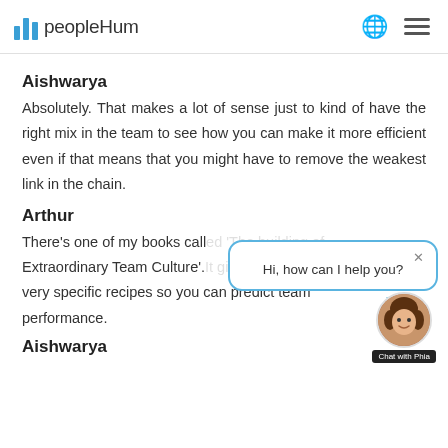peopleHum
Aishwarya
Absolutely. That makes a lot of sense just to kind of have the right mix in the team to see how you can make it more efficient even if that means that you might have to remove the weakest link in the chain.
Arthur
There's one of my books call... Extraordinary Team Culture'. very specific recipes so you can predict team performance.
[Figure (screenshot): Chat popup with text 'Hi, how can I help you?' and a close X button, with a speech bubble tail pointing down-right, overlaid on the page content.]
Aishwarya